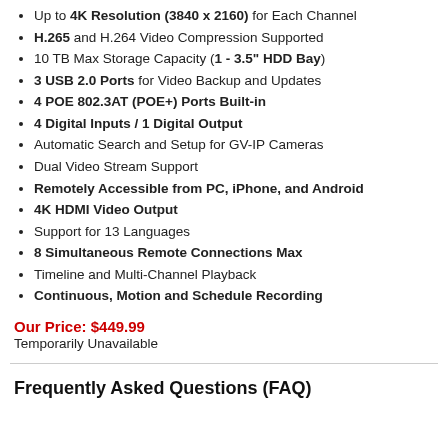Up to 4K Resolution (3840 x 2160) for Each Channel
H.265 and H.264 Video Compression Supported
10 TB Max Storage Capacity (1 - 3.5" HDD Bay)
3 USB 2.0 Ports for Video Backup and Updates
4 POE 802.3AT (POE+) Ports Built-in
4 Digital Inputs / 1 Digital Output
Automatic Search and Setup for GV-IP Cameras
Dual Video Stream Support
Remotely Accessible from PC, iPhone, and Android
4K HDMI Video Output
Support for 13 Languages
8 Simultaneous Remote Connections Max
Timeline and Multi-Channel Playback
Continuous, Motion and Schedule Recording
Our Price: $449.99
Temporarily Unavailable
Frequently Asked Questions (FAQ)